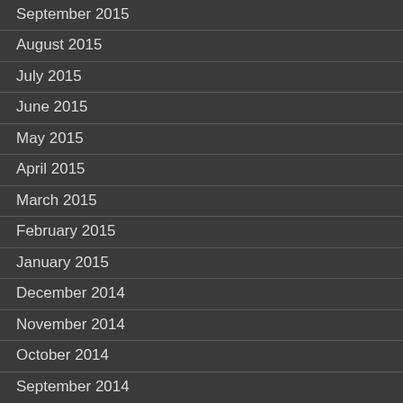September 2015
August 2015
July 2015
June 2015
May 2015
April 2015
March 2015
February 2015
January 2015
December 2014
November 2014
October 2014
September 2014